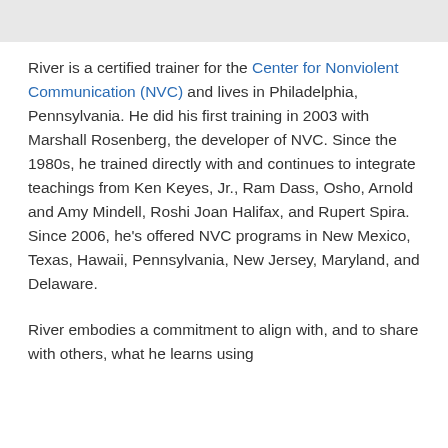River is a certified trainer for the Center for Nonviolent Communication (NVC) and lives in Philadelphia, Pennsylvania. He did his first training in 2003 with Marshall Rosenberg, the developer of NVC. Since the 1980s, he trained directly with and continues to integrate teachings from Ken Keyes, Jr., Ram Dass, Osho, Arnold and Amy Mindell, Roshi Joan Halifax, and Rupert Spira. Since 2006, he's offered NVC programs in New Mexico, Texas, Hawaii, Pennsylvania, New Jersey, Maryland, and Delaware.
River embodies a commitment to align with, and to share with others, what he learns using